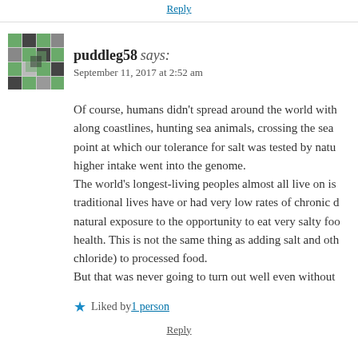Reply
[Figure (illustration): User avatar mosaic pattern for puddleg58, green and grey geometric quilt-like square]
puddleg58 says:
September 11, 2017 at 2:52 am
Of course, humans didn't spread around the world with along coastlines, hunting sea animals, crossing the sea point at which our tolerance for salt was tested by natu higher intake went into the genome.
The world's longest-living peoples almost all live on is traditional lives have or had very low rates of chronic d natural exposure to the opportunity to eat very salty foo health. This is not the same thing as adding salt and oth chloride) to processed food.
But that was never going to turn out well even without
Liked by 1 person
Reply